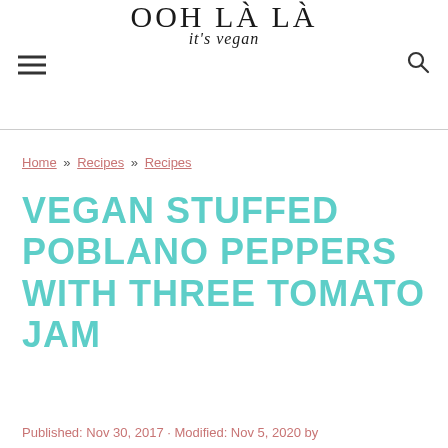OOH LÀ LÀ it's vegan
Home » Recipes » Recipes
VEGAN STUFFED POBLANO PEPPERS WITH THREE TOMATO JAM
Published: Nov 30, 2017 · Modified: Nov 5, 2020 by